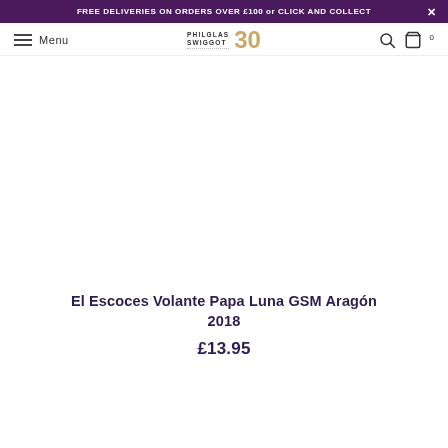FREE DELIVERIES ON ORDERS OVER £100 or CLICK AND COLLECT
[Figure (logo): Philglas & Swiggot 30th anniversary logo with text PHILGLAS SWIGGOT and gold 30]
[Figure (photo): Product image area (white/blank space where wine bottle photo would appear)]
El Escoces Volante Papa Luna GSM Aragón 2018
£13.95